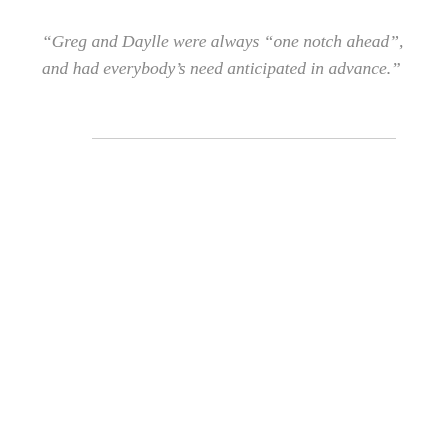“Greg and Daylle were always “one notch ahead”, and had everybody’s need anticipated in advance.”